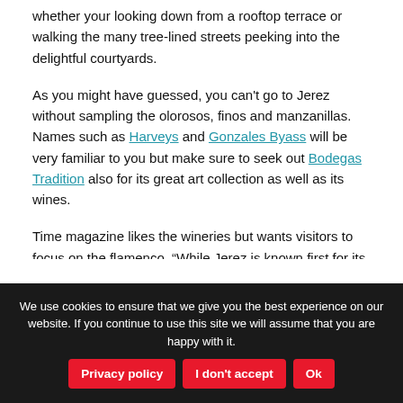whether your looking down from a rooftop terrace or walking the many tree-lined streets peeking into the delightful courtyards.
As you might have guessed, you can't go to Jerez without sampling the olorosos, finos and manzanillas. Names such as Harveys and Gonzales Byass will be very familiar to you but make sure to seek out Bodegas Tradition also for its great art collection as well as its wines.
Time magazine likes the wineries but wants visitors to focus on the flamenco. “While Jerez is known first for its sherry,” it explains, “this town lies at the very center of Andalucia’s Gypsy culture.” It recommends the annual
We use cookies to ensure that we give you the best experience on our website. If you continue to use this site we will assume that you are happy with it.